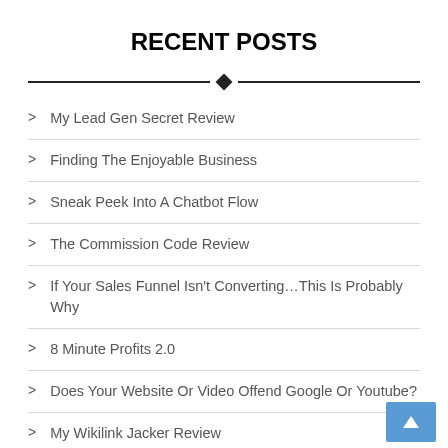RECENT POSTS
My Lead Gen Secret Review
Finding The Enjoyable Business
Sneak Peek Into A Chatbot Flow
The Commission Code Review
If Your Sales Funnel Isn't Converting…This Is Probably Why
8 Minute Profits 2.0
Does Your Website Or Video Offend Google Or Youtube?
My Wikilink Jacker Review